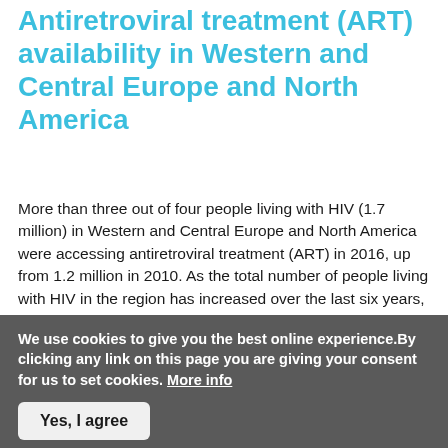Antiretroviral treatment (ART) availability in Western and Central Europe and North America
More than three out of four people living with HIV (1.7 million) in Western and Central Europe and North America were accessing antiretroviral treatment (ART) in 2016, up from 1.2 million in 2010. As the total number of people living with HIV in the region has increased over the last six years, this scale-up has translated into an increase in treatment coverage from 63% of people living with HIV in the region in 2010 to an estimated 78% in 2016.89
Treatment coverage among people living with HIV varies
We use cookies to give you the best online experience.By clicking any link on this page you are giving your consent for us to set cookies. More info
Yes, I agree